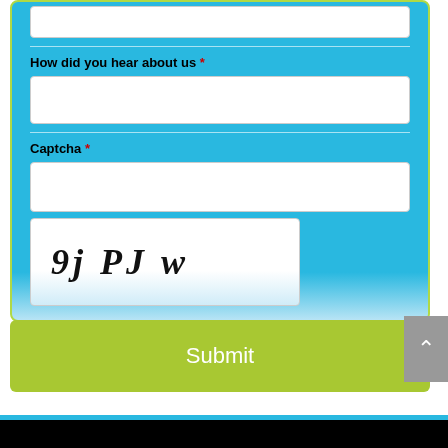How did you hear about us *
[Figure (screenshot): Web form with 'How did you hear about us' text field, Captcha field with input box and captcha image showing '9j PJ w', and a green Submit button. Includes a scroll-to-top button on the right side.]
Captcha *
Submit